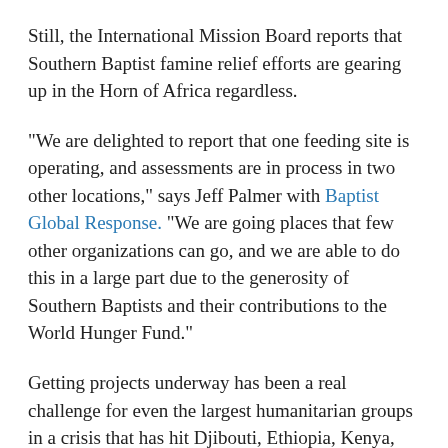Still, the International Mission Board reports that Southern Baptist famine relief efforts are gearing up in the Horn of Africa regardless.
"We are delighted to report that one feeding site is operating, and assessments are in process in two other locations," says Jeff Palmer with Baptist Global Response. "We are going places that few other organizations can go, and we are able to do this in a large part due to the generosity of Southern Baptists and their contributions to the World Hunger Fund."
Getting projects underway has been a real challenge for even the largest humanitarian groups in a crisis that has hit Djibouti, Ethiopia, Kenya, South Sudan, Sudan, Uganda and Somalia.